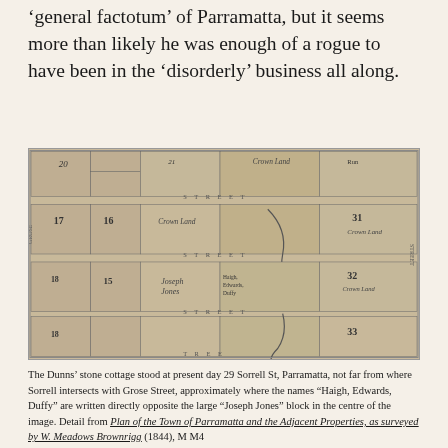'general factotum' of Parramatta, but it seems more than likely he was enough of a rogue to have been in the 'disorderly' business all along.
[Figure (map): Historical map detail showing land parcels and streets in Parramatta, with numbered lots (17, 20, 21, 31, 32, 33, etc.), Crown Land areas, and handwritten annotations. Streets visible include references to Grose Street area.]
The Dunns' stone cottage stood at present day 29 Sorrell St, Parramatta, not far from where Sorrell intersects with Grose Street, approximately where the names "Haigh, Edwards, Duffy" are written directly opposite the large "Joseph Jones" block in the centre of the image. Detail from Plan of the Town of Parramatta and the Adjacent Properties, as surveyed by W. Meadows Brownrigg (1844), M M4